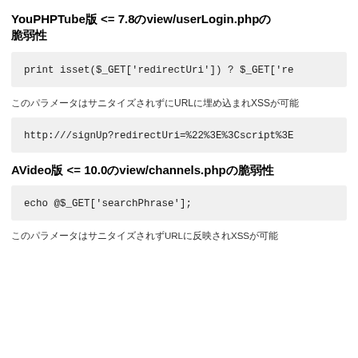YouPHPTube版 <= 7.8のview/userLogin.phpの脆弱性
[Figure (screenshot): Code block showing: print isset($_GET['redirectUri']) ? $_GET['re...]
このパラメータはサニタイズされずにURLに埋め込まれXSSが可能
[Figure (screenshot): Code block showing: http:///signUp?redirectUri=%22%3E%3Cscript%3E...]
AVideo版 <= 10.0のview/channels.phpの脆弱性
[Figure (screenshot): Code block showing: echo @$_GET['searchPhrase'];]
このパラメータはサニタイズされずURLに反映されXSSが可能